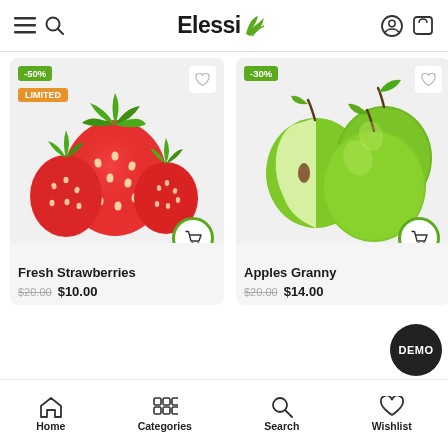Elessi — mobile grocery e-commerce app header with hamburger menu, search, logo, user icon, cart icon
[Figure (screenshot): Product card: Fresh Strawberries with -50% green badge, LIMITED orange badge, wishlist heart icon, cart circle button]
[Figure (screenshot): Product card: Apples Granny with -30% green badge, wishlist heart icon, cart circle button]
Fresh Strawberries $20.00 $10.00
Apples Granny $20.00 $14.00
Home | Categories | Search | Wishlist